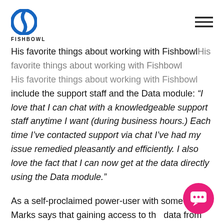FISHBOWL
His favorite things about working with Fishbowl include the support staff and the Data module: “I love that I can chat with a knowledgeable support staff anytime I want (during business hours.) Each time I’ve contacted support via chat I’ve had my issue remedied pleasantly and efficiently. I also love the fact that I can now get at the data directly using the Data module.”
As a self-proclaimed power-user with some skills, Marks says that gaining access to the data from the front end is very convenient.